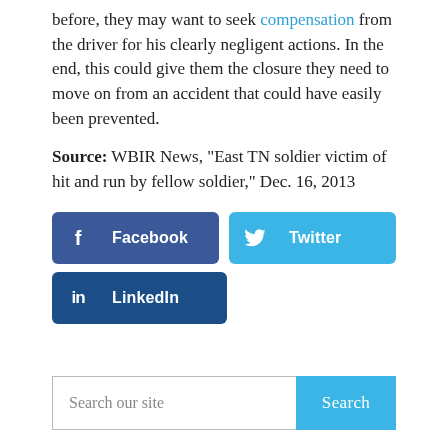before, they may want to seek compensation from the driver for his clearly negligent actions. In the end, this could give them the closure they need to move on from an accident that could have easily been prevented.
Source: WBIR News, "East TN soldier victim of hit and run by fellow soldier," Dec. 16, 2013
[Figure (other): Social sharing buttons: Facebook, Twitter, LinkedIn]
[Figure (other): Search bar with 'Search our site' placeholder and a Search button]
Categories
Admiralty And Maritime Law (41)